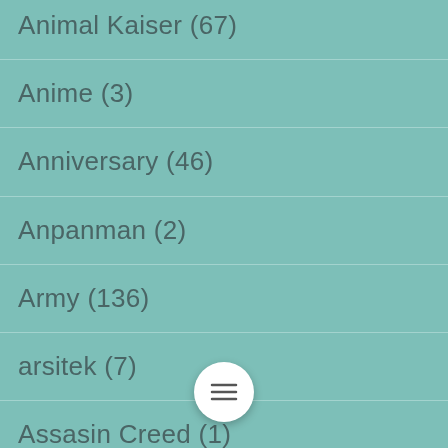Animal Kaiser (67)
Anime (3)
Anniversary (46)
Anpanman (2)
Army (136)
arsitek (7)
Assasin Creed (1)
Asterix dan Obelix (…)
Astro boy (2)